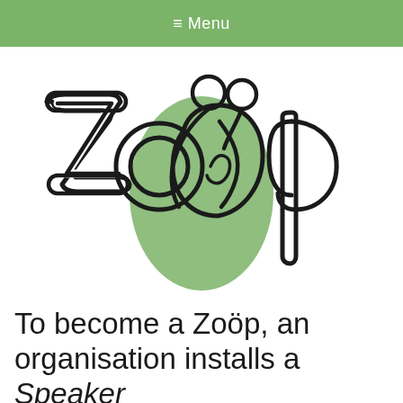≡ Menu
[Figure (logo): Zoöp logo: hand-drawn style letters Z, o, o, p with a green oval/blob in the center and a small stick figure person integrated into the letters]
To become a Zoöp, an organisation installs a Speaker for the nature and then